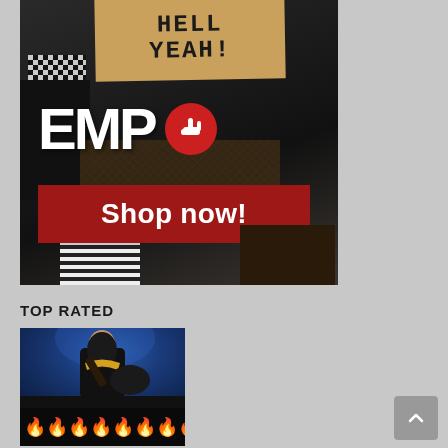[Figure (photo): EMP store advertisement banner showing punk/rock styled person with cardboard sign reading 'HELL YEAH!', EMP logo with devil horns icon, and red 'Shop now!' button on dark background]
TOP RATED
[Figure (photo): Guitarist performing on stage with blue stage lighting, wearing black jacket with yellow accessories, playing dark guitar. Fire emoji strip overlaid on bottom portion of image.]
[Figure (other): Back to top arrow button (grey square with upward chevron)]